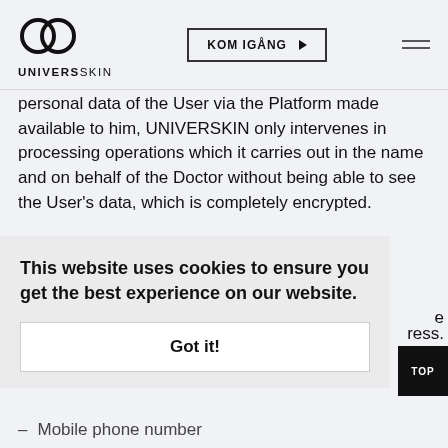UNIVERSKIN | KOM IGÅNG
personal data of the User via the Platform made available to him, UNIVERSKIN only intervenes in processing operations which it carries out in the name and on behalf of the Doctor without being able to see the User's data, which is completely encrypted.
(i) Connection
When the User accesses the Platform to fill in the
ress.
This website uses cookies to ensure you get the best experience on our website.
Got it!
Mobile phone number